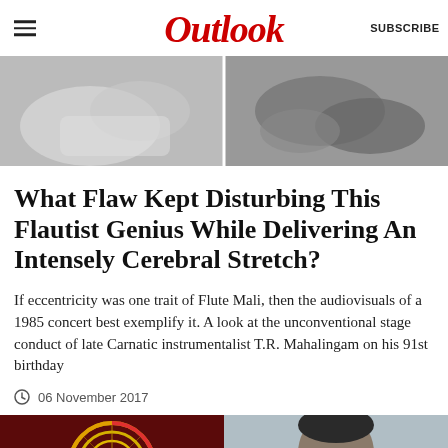Outlook
[Figure (photo): Black and white hero image split into two panels showing hands/figures]
What Flaw Kept Disturbing This Flautist Genius While Delivering An Intensely Cerebral Stretch?
If eccentricity was one trait of Flute Mali, then the audiovisuals of a 1985 concert best exemplify it. A look at the unconventional stage conduct of late Carnatic instrumentalist T.R. Mahalingam on his 91st birthday
06 November 2017
[Figure (photo): Two photos side by side: left showing a decorative circular flute/instrument detail, right showing a man's face]